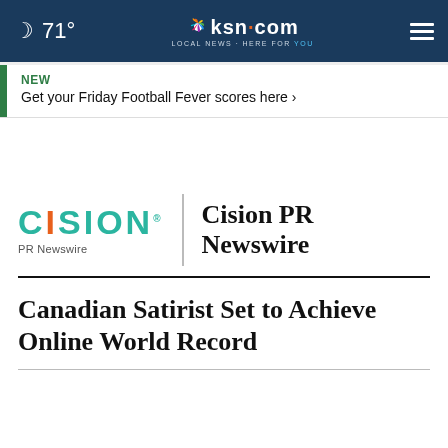🌙 71° | ksn.com LOCAL NEWS · HERE FOR YOU
NEW
Get your Friday Football Fever scores here ›
[Figure (logo): Cision PR Newswire logo with teal CISION wordmark, vertical divider, and bold serif Cision PR Newswire text]
Canadian Satirist Set to Achieve Online World Record